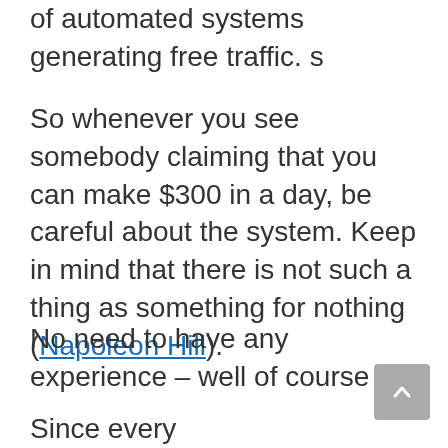of automated systems generating free traffic. s
So whenever you see somebody claiming that you can make $300 in a day, be careful about the system. Keep in mind that there is not such a thing as something for nothing (Napoleon Hill).
No need to have any experience – well of course
Since every person that has already tried to learn something about internet marketing might fall for this scheme